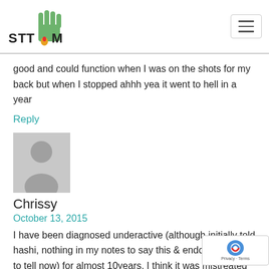STTM logo and navigation
good and could function when I was on the shots for my back but when I stopped ahhh yea it went to hell in a year
Reply
[Figure (photo): Gray placeholder avatar image of a person silhouette]
Chrissy
October 13, 2015
I have been diagnosed underactive (although initially told hashi, nothing in my notes to say this & endo says hard to tell now) for almost 10years. I think it was mistreated much longer (18yr old daughter born after 28 weeks – prec & 4 miscarriages after). I started ndt in march after I p my blood results in a forum & got admin advice. I've bought